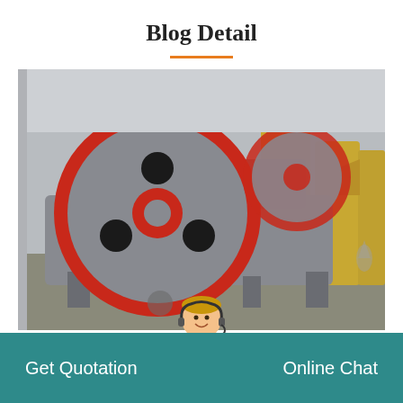Blog Detail
[Figure (photo): Industrial jaw crusher machines in a factory or outdoor setting. The foreground shows a large grey jaw crusher with a prominent red and grey flywheel, mounted on a heavy-duty frame. In the background are several yellow/beige crusher machines lined up. The setting appears to be a manufacturing yard or facility.]
Get Quotation
Online Chat